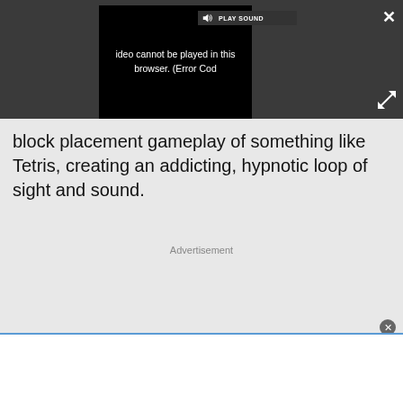[Figure (screenshot): Video player showing error message 'Video cannot be played in this browser. (Error Cod' with a PLAY SOUND button and speaker icon, set against a dark gray background. Close (X) and expand buttons visible.]
block placement gameplay of something like Tetris, creating an addicting, hypnotic loop of sight and sound.
Advertisement